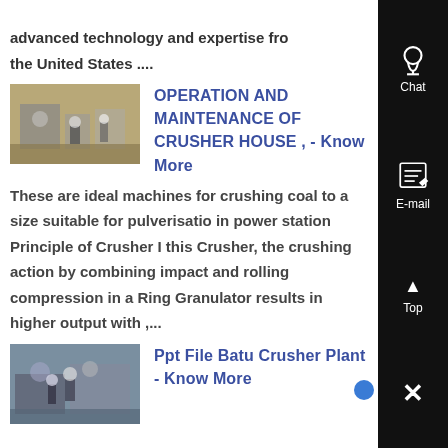advanced technology and expertise from the United States ....
OPERATION AND MAINTENANCE OF CRUSHER HOUSE , - Know More
These are ideal machines for crushing coal to a size suitable for pulverisation in power station Principle of Crusher In this Crusher, the crushing action by combining impact and rolling compression in a Ring Granulator results in higher output with ,...
Ppt File Batu Crusher Plant - Know More